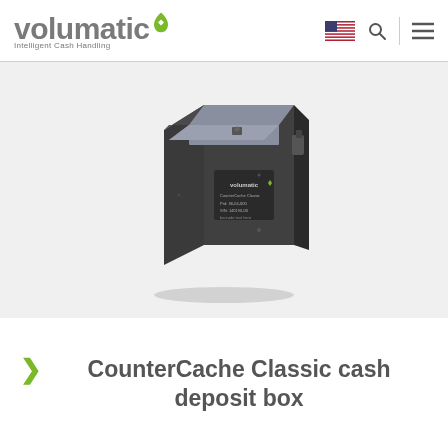volumatic Intelligent Cash Handling
[Figure (photo): CounterCache Classic cash deposit box — a dark grey metal box with a grey top portion, keypad/lock on front, and a Volumatic label. Photographed at an angle on a light background.]
CounterCache Classic cash deposit box